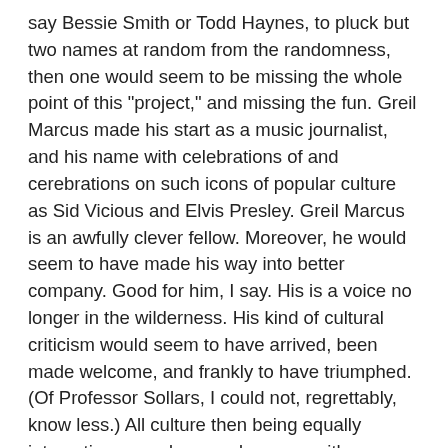say Bessie Smith or Todd Haynes, to pluck but two names at random from the randomness, then one would seem to be missing the whole point of this "project," and missing the fun. Greil Marcus made his start as a music journalist, and his name with celebrations of and cerebrations on such icons of popular culture as Sid Vicious and Elvis Presley. Greil Marcus is an awfully clever fellow. Moreover, he would seem to have made his way into better company. Good for him, I say. His is a voice no longer in the wilderness. His kind of cultural criticism would seem to have arrived, been made welcome, and frankly to have triumphed. (Of Professor Sollars, I could not, regrettably, know less.) All culture then being equally interesting nowadays, and anyone with a degree it seems qualified and encouraged to comment on any of it, to use just one short list from the editors' introduction by way of example, "...Washington Irving as well as Charlie Chaplin, Henry Wadsworth Longfellow as well as Walt Whitman, Uncle Tom as well as Ursa Corregidora, Nate Shaw as well as Malcolm X, Henry Adams as well as Queen Lili'uokalani, Mark Twain as well as Chief Simon Pokagon..." etc., etc., it seems best to abandon any thought of a recognizable narrative, and just have a go.